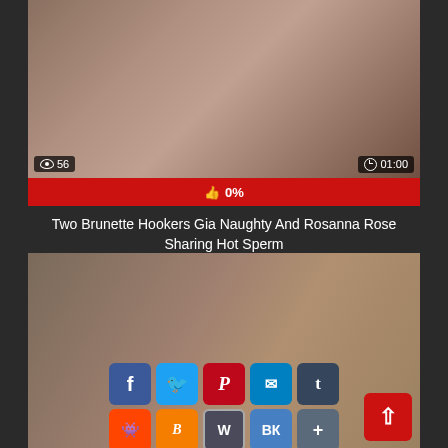[Figure (screenshot): Video thumbnail showing two brunette women, with view count 56 and duration 01:00 overlaid]
👍 0%
Two Brunette Hookers Gia Naughty And Rosanna Rose Sharing Hot Sperm
[Figure (screenshot): Second video thumbnail with social sharing buttons overlaid: Facebook, Twitter, Pinterest, Mail, Tumblr, Reddit, Blogger, WordPress, VK, More]
[Figure (infographic): Back to top red button with up arrow]